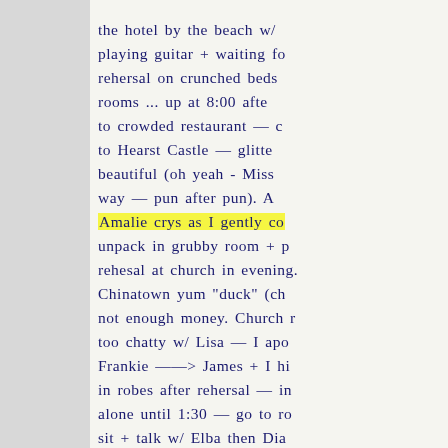the hotel by the beach w/ playing guitar + waiting fo rehearsal on crunched beds rooms ... up at 8:00 afte to crowded restaurant — c to Hearst Castle — glitte beautiful (oh yeah - Miss way — pun after pun). A Amalie crys as I gently co unpack in grubby room + p rehearsal at church in evening. Chinatown yum "duck" (ch not enough money. Church r too chatty w/ Lisa — I apo Frankie ——> James + I hi in robes after rehearsal — in alone until 1:30 — go to ro sit + talk w/ Elba then Dia +Laura Shelly etc. Mornin w/ Jim + service. then go wharf — lying on grass in